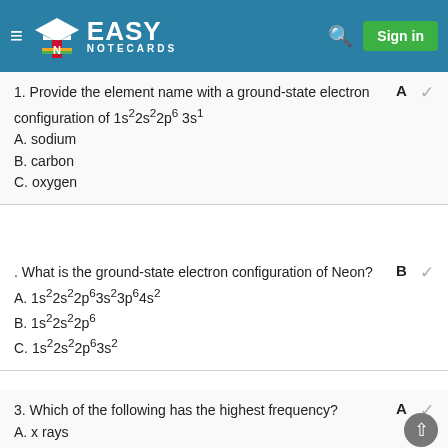Easy Notecards — Sign in
1. Provide the element name with a ground-state electron configuration of 1s22s22p6 3s1
A. sodium
B. carbon
C. oxygen
Answer: A
. What is the ground-state electron configuration of Neon?
A. 1s22s22p63s23p64s2
B. 1s22s22p6
C. 1s22s22p63s2
Answer: B
3. Which of the following has the highest frequency?
A. x rays
Answer: A